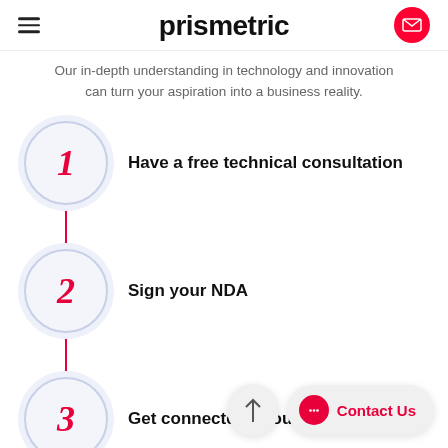prismetric
Our in-depth understanding in technology and innovation can turn your aspiration into a business reality.
1 Have a free technical consultation
2 Sign your NDA
3 Get connected to our tech team